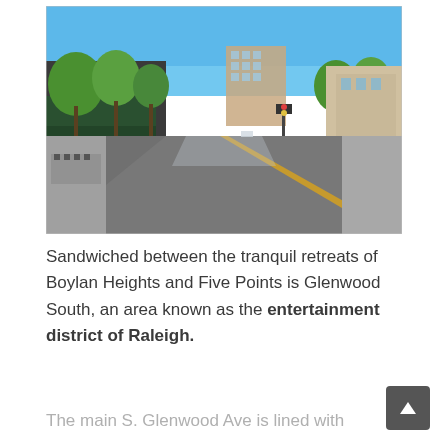[Figure (photo): Street-level photo of S. Glenwood Ave in Raleigh, NC. A wide urban street with a yellow center line stretches into the distance under a clear blue sky. Green trees line both sides. On the left are shops and outdoor seating areas. Multi-story brick buildings are visible in the background.]
Sandwiched between the tranquil retreats of Boylan Heights and Five Points is Glenwood South, an area known as the entertainment district of Raleigh.
The main S. Glenwood Ave is lined with